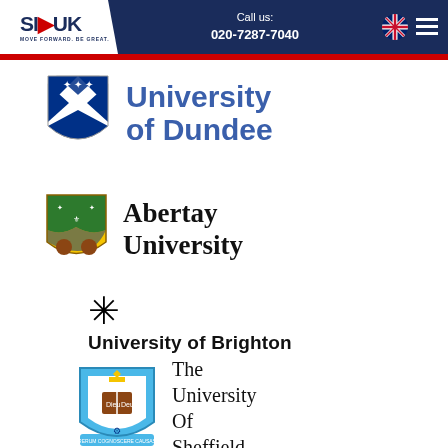SI-UK | Call us: 020-7287-7040
[Figure (logo): University of Dundee logo with blue and white shield crest and blue text]
[Figure (logo): Abertay University logo with colorful shield crest and black serif text]
[Figure (logo): University of Brighton logo with asterisk/star symbol and bold black text]
[Figure (logo): The University of Sheffield logo with blue shield crest and serif text]